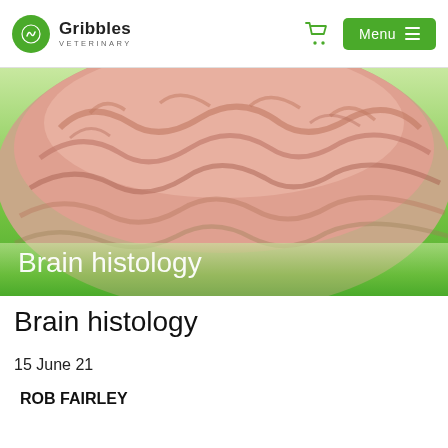Gribbles Veterinary
[Figure (photo): 3D rendered illustration of a human brain shown from a top-side angle, with pink and tan coloring and a green gradient background. The text 'Brain histology' is overlaid in white at the lower left.]
Brain histology
15 June 21
ROB FAIRLEY